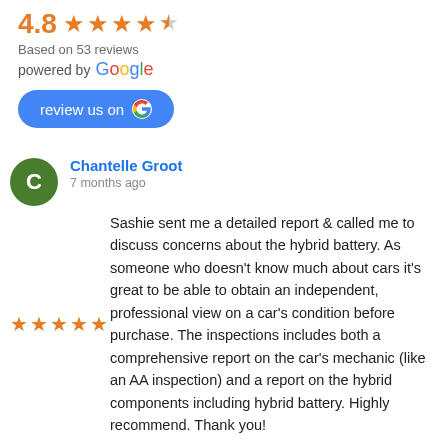4.8 ★★★★½
Based on 53 reviews
powered by Google
[Figure (other): Blue 'review us on Google' button with Google G icon]
Chantelle Groot
7 months ago
Sashie sent me a detailed report & called me to discuss concerns about the hybrid battery. As someone who doesn't know much about cars it's great to be able to obtain an independent, professional view on a car's condition before purchase. The inspections includes both a comprehensive report on the car's mechanic (like an AA inspection) and a report on the hybrid components including hybrid battery. Highly recommend. Thank you!
Tom Southwell
11 months ago
pre-purchase inspection was of